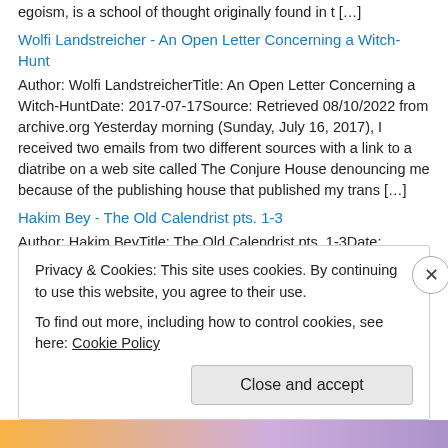egoism, is a school of thought originally found in t […]
Wolfi Landstreicher - An Open Letter Concerning a Witch-Hunt
Author: Wolfi LandstreicherTitle: An Open Letter Concerning a Witch-HuntDate: 2017-07-17Source: Retrieved 08/10/2022 from archive.org Yesterday morning (Sunday, July 16, 2017), I received two emails from two different sources with a link to a diatribe on a web site called The Conjure House denouncing me because of the publishing house that published my trans […]
Hakim Bey - The Old Calendrist pts. 1-3
Author: Hakim BeyTitle: The Old Calendrist pts. 1-3Date: 2014Notes: Originally published as part of a series of 10 pamphlets authored by Peter Lamborn Wilson among others. Now compiled and published by ENEMY COMBATANT PUBLICATIONS and available from them, Viscera Print Goods and Ephemera, Little Black Cart, and othersSource:
Privacy & Cookies: This site uses cookies. By continuing to use this website, you agree to their use.
To find out more, including how to control cookies, see here: Cookie Policy
Close and accept